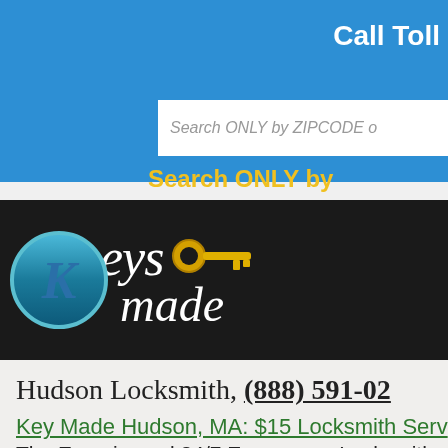Call Toll
Search ONLY by ZIPCODE o
Search ONLY by
[Figure (logo): KeysMade logo: large stylized K in teal circle followed by 'eys' with a golden key icon and 'made' in italic white script on black background]
Hudson Locksmith, (888) 591-02
Key Made Hudson, MA: $15 Locksmith Serv
The Experienced 24/7 Emergency Locksmith